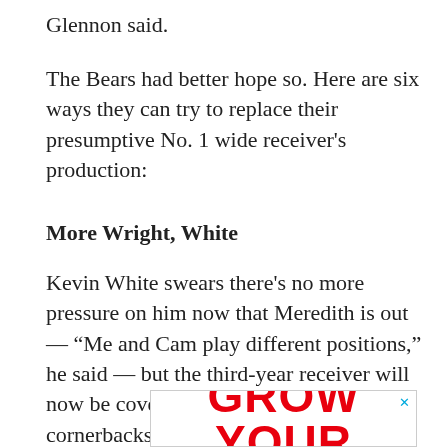Glennon said.
The Bears had better hope so. Here are six ways they can try to replace their presumptive No. 1 wide receiver's production:
More Wright, White
Kevin White swears there’s no more pressure on him now that Meredith is out — “Me and Cam play different positions,” he said — but the third-year receiver will now be covered by the best opposing cornerbacks. Beating them is a big ask for someone who has played in only four games in two years.
[Figure (other): Advertisement banner partially visible showing 'GROW YOUR' in large red bold text with a close (x) button in the top right corner]